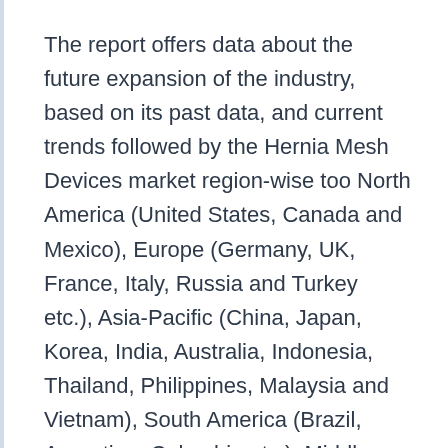The report offers data about the future expansion of the industry, based on its past data, and current trends followed by the Hernia Mesh Devices market region-wise too North America (United States, Canada and Mexico), Europe (Germany, UK, France, Italy, Russia and Turkey etc.), Asia-Pacific (China, Japan, Korea, India, Australia, Indonesia, Thailand, Philippines, Malaysia and Vietnam), South America (Brazil, Argentina, Columbia etc.), Middle East and Africa (Saudi Arabia, UAE, Egypt, Nigeria and South Africa).
The performance and characteristics of the Hernia Mesh Devices market are examined